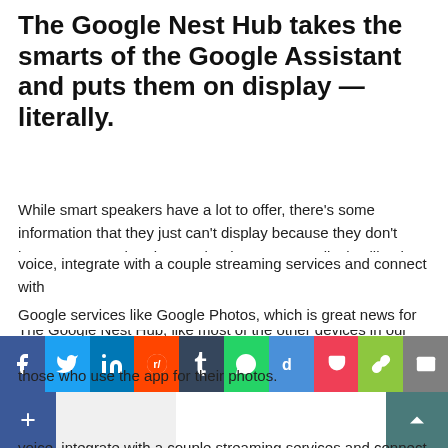The Google Nest Hub takes the smarts of the Google Assistant and puts them on display — literally.
While smart speakers have a lot to offer, there's some information that they just can't display because they don't have screens. That, is exactly where a smart display like the new Google Nest Hub comes in.
The Google Nest Hub, like most of the other devices in our guide, is designed by Google. Therefore, it has the same overall look as other Google devices with its white, clean design and fabric accents. But what sets it apart is the screen.
The Hub takes the Google Assistant and gives it a screen, so you can watch news segments and YouTube videos, see information like the weather, control smart home devices by voice, integrate with a couple streaming services and connect with Google services like Google Photos, which is great news for those who use the app for their photos.
[Figure (other): Social sharing bar with icons: Facebook, Twitter, LinkedIn, Reddit, Tumblr, WhatsApp, Digg, Pocket, Copy, Email, and a plus button with a blank label area, plus a scroll-to-top button.]